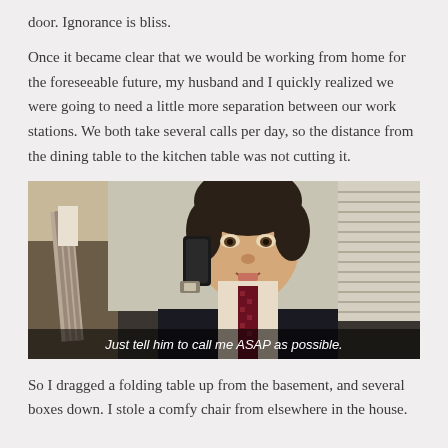door. Ignorance is bliss.
Once it became clear that we would be working from home for the foreseeable future, my husband and I quickly realized we were going to need a little more separation between our work stations. We both take several calls per day, so the distance from the dining table to the kitchen table was not cutting it.
[Figure (photo): A man in a dark suit and tie speaking on a phone handset, with subtitle text reading 'Just tell him to call me ASAP as possible.' Still from The Office TV show.]
So I dragged a folding table up from the basement, and several boxes down. I stole a comfy chair from elsewhere in the house.